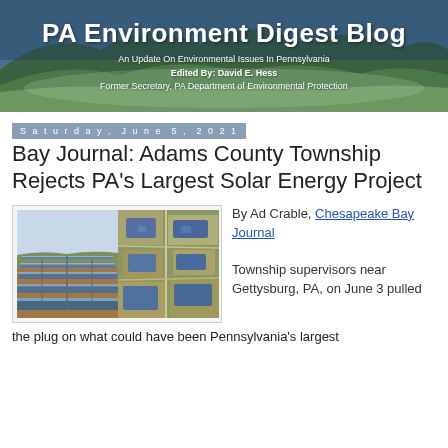[Figure (illustration): PA Environment Digest Blog banner header with forested hills background in green and blue tones]
PA Environment Digest Blog
An Update On Environmental Issues In Pennsylvania
Edited By: David E. Hess
Former Secretary, PA Department of Environmental Protection
Saturday, June 5, 2021
Bay Journal: Adams County Township Rejects PA's Largest Solar Energy Project
[Figure (photo): Two photos side by side: left shows solar panel rows in a field, right shows aerial view of farmland parcels with blue solar installations]
By Ad Crable, Chesapeake Bay Journal
Township supervisors near Gettysburg, PA, on June 3 pulled the plug on what could have been Pennsylvania's largest